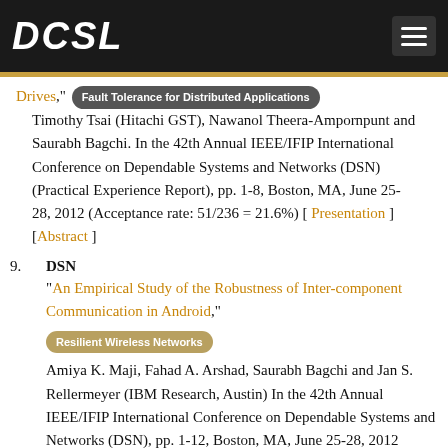DCSL
Drives," Fault Tolerance for Distributed Applications Timothy Tsai (Hitachi GST), Nawanol Theera-Ampornpunt and Saurabh Bagchi. In the 42th Annual IEEE/IFIP International Conference on Dependable Systems and Networks (DSN) (Practical Experience Report), pp. 1-8, Boston, MA, June 25-28, 2012 (Acceptance rate: 51/236 = 21.6%) [ Presentation ] [Abstract ]
9. DSN "An Empirical Study of the Robustness of Inter-component Communication in Android," Resilient Wireless Networks Amiya K. Maji, Fahad A. Arshad, Saurabh Bagchi and Jan S. Rellermeyer (IBM Research, Austin) In the 42th Annual IEEE/IFIP International Conference on Dependable Systems and Networks (DSN), pp. 1-12, Boston, MA, June 25-28, 2012 (Acceptance rate: